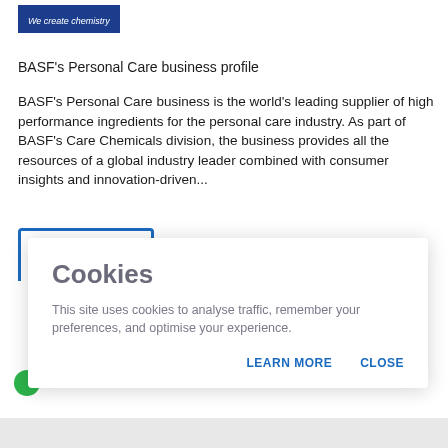[Figure (logo): BASF blue rectangular logo with white italic text 'We create chemistry']
BASF's Personal Care business profile
BASF's Personal Care business is the world's leading supplier of high performance ingredients for the personal care industry. As part of BASF's Care Chemicals division, the business provides all the resources of a global industry leader combined with consumer insights and innovation-driven...
[Figure (screenshot): Cookie consent modal dialog with title 'Cookies', body text about site cookies, and two action buttons: LEARN MORE and CLOSE]